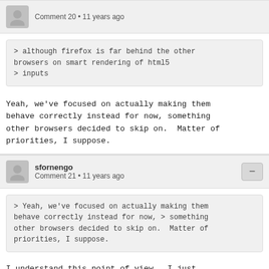Comment 20 • 11 years ago
> although firefox is far behind the other browsers on smart rendering of html5 > inputs
Yeah, we've focused on actually making them behave correctly instead for now, something other browsers decided to skip on.  Matter of priorities, I suppose.
sfornengo
Comment 21 • 11 years ago
> Yeah, we've focused on actually making them behave correctly instead for now, > something other browsers decided to skip on.  Matter of priorities, I suppose.
I understand this point of view.  I just